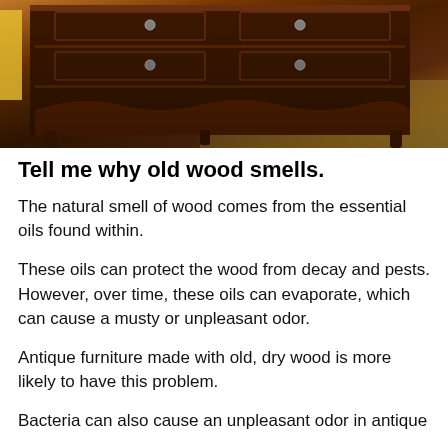[Figure (photo): Close-up photo of an antique dark wood dresser or chest of drawers with ornate carved details, metal drawer pulls, and decorative trim, photographed in warm amber/brown tones]
Tell me why old wood smells.
The natural smell of wood comes from the essential oils found within.
These oils can protect the wood from decay and pests. However, over time, these oils can evaporate, which can cause a musty or unpleasant odor.
Antique furniture made with old, dry wood is more likely to have this problem.
Bacteria can also cause an unpleasant odor in antique